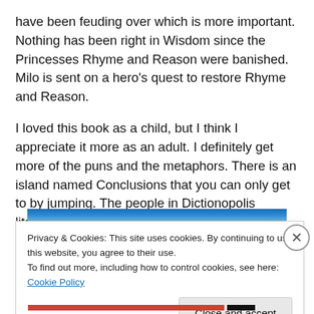have been feuding over which is more important.  Nothing has been right in Wisdom since the Princesses Rhyme and Reason were banished.  Milo is sent on a hero's quest to restore Rhyme and Reason.
I loved this book as a child, but I think I appreciate it more as an adult.  I definitely get more of the puns and the metaphors.  There is an island named Conclusions that you can only get to by jumping.  The people in Dictionopolis literally eat their words.
[Figure (screenshot): Partial image strip visible at top of cookie banner area, showing a blue and orange gradient image banner.]
Privacy & Cookies: This site uses cookies. By continuing to use this website, you agree to their use.
To find out more, including how to control cookies, see here: Cookie Policy
Close and accept